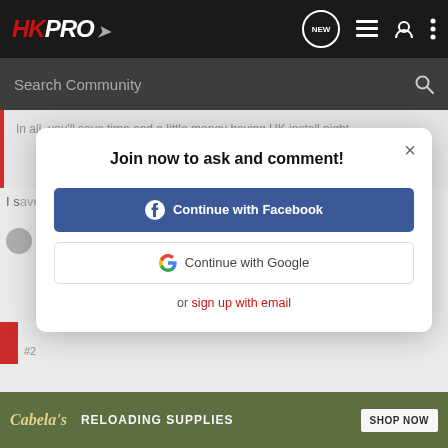HKPRO - Navigation bar with search
In all, you'll save time and a little money having HK install night
Click to expand...
[Figure (screenshot): Join now to ask and comment modal dialog with Continue with Facebook and Continue with Google buttons]
or sign up with email
I am a big fan of the TFX pros. bright in daylight and night
[Figure (infographic): Cabela's Reloading Supplies advertisement banner with SHOP NOW button]